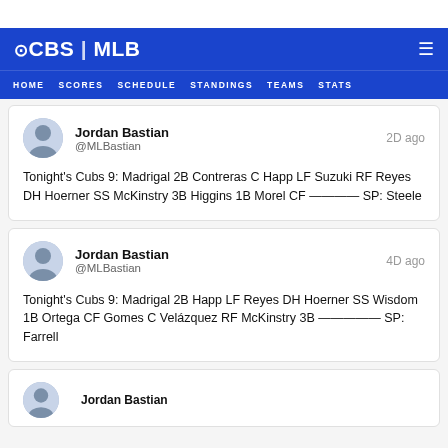CBS | MLB
HOME   SCORES   SCHEDULE   STANDINGS   TEAMS   STATS
Jordan Bastian @MLBastian 2D ago
Tonight's Cubs 9: Madrigal 2B Contreras C Happ LF Suzuki RF Reyes DH Hoerner SS McKinstry 3B Higgins 1B Morel CF ———— SP: Steele
Jordan Bastian @MLBastian 4D ago
Tonight's Cubs 9: Madrigal 2B Happ LF Reyes DH Hoerner SS Wisdom 1B Ortega CF Gomes C Velázquez RF McKinstry 3B ————— SP: Farrell
Jordan Bastian